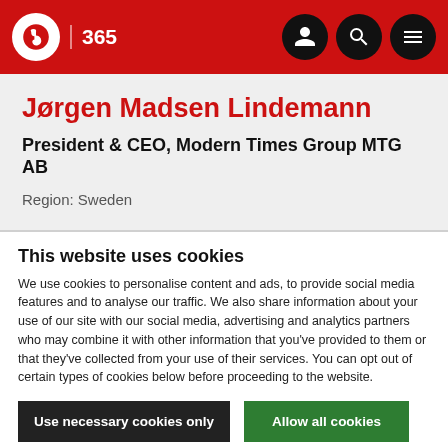IBC 365 — navigation header with logo, search and menu icons
Jørgen Madsen Lindemann
President & CEO, Modern Times Group MTG AB
Region: Sweden
This website uses cookies
We use cookies to personalise content and ads, to provide social media features and to analyse our traffic. We also share information about your use of our site with our social media, advertising and analytics partners who may combine it with other information that you've provided to them or that they've collected from your use of their services. You can opt out of certain types of cookies below before proceeding to the website.
Use necessary cookies only | Allow all cookies
Show details